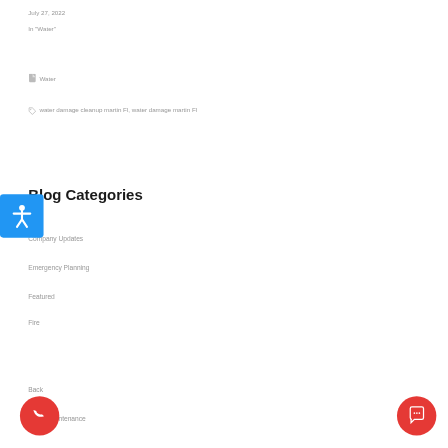July 27, 2022
In "Water"
Water
water damage cleanup martin Fl, water damage martin Fl
Blog Categories
Company Updates
Emergency Planning
Featured
Fire
Back
Home Maintenance